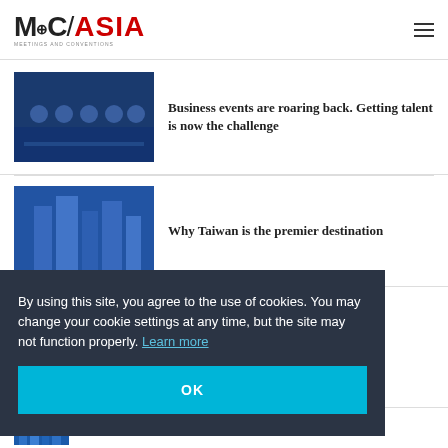MC/ASIA — Meetings and Conventions
[Figure (photo): Conference panel discussion with speakers on stage and audience]
Business events are roaring back. Getting talent is now the challenge
[Figure (photo): Blue modern building architecture, Taiwan]
Why Taiwan is the premier destination
By using this site, you agree to the use of cookies. You may change your cookie settings at any time, but the site may not function properly. Learn more
OK
M&C
[Figure (photo): City skyline photograph]